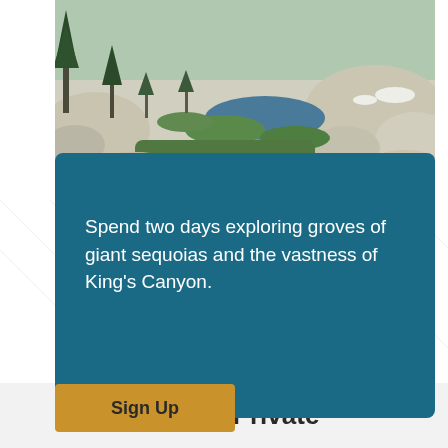[Figure (photo): Aerial/landscape view of alpine terrain with giant sequoias, granite rocks, a small lake, and green meadows — likely Kings Canyon National Park]
Spend two days exploring groves of giant sequoias and the vastness of King's Canyon.
Sign Up
Custom Private